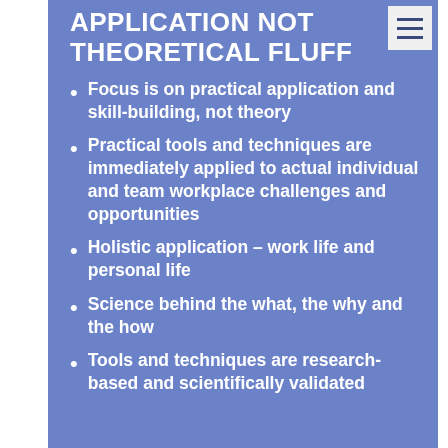APPLICATION NOT THEORETICAL FLUFF
Focus is on practical application and skill-building, not theory
Practical tools and techniques are immediately applied to actual individual and team workplace challenges and opportunities
Holistic application – work life and personal life
Science behind the what, the why and the how
Tools and techniques are research-based and scientifically validated